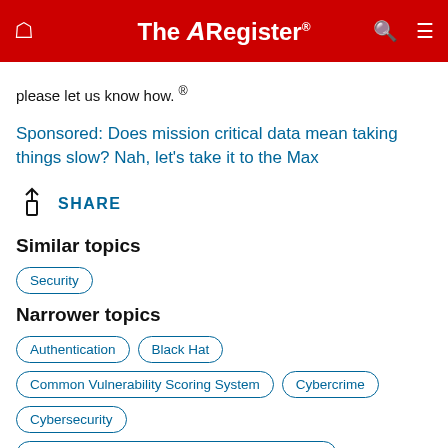The Register
please let us know how. ®
Sponsored: Does mission critical data mean taking things slow? Nah, let's take it to the Max
SHARE
Similar topics
Security
Narrower topics
Authentication
Black Hat
Common Vulnerability Scoring System
Cybercrime
Cybersecurity
Cybersecurity and Infrastructure Security Agency